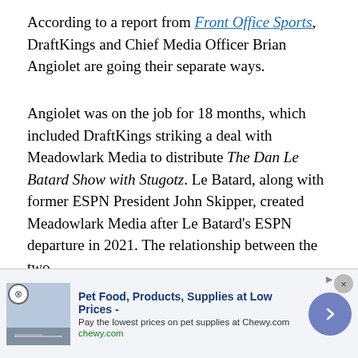According to a report from Front Office Sports, DraftKings and Chief Media Officer Brian Angiolet are going their separate ways.
Angiolet was on the job for 18 months, which included DraftKings striking a deal with Meadowlark Media to distribute The Dan Le Batard Show with Stugotz. Le Batard, along with former ESPN President John Skipper, created Meadowlark Media after Le Batard's ESPN departure in 2021. The relationship between the two entities has grown to see several other podcasts created [partially obscured] and Futbol with Grant [partially obscured]
[Figure (screenshot): BSM Media Noise podcast video thumbnail showing episode about Big Noon Kickoff vs College Gameday]
[Figure (other): Advertisement banner: Pet Food, Products, Supplies at Low Prices - Chewy.com. Pay the lowest prices on pet supplies at Chewy.com]